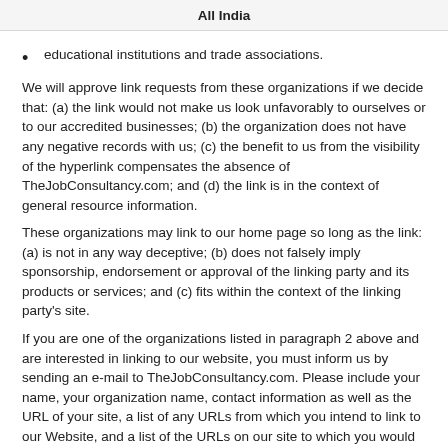All India
educational institutions and trade associations.
We will approve link requests from these organizations if we decide that: (a) the link would not make us look unfavorably to ourselves or to our accredited businesses; (b) the organization does not have any negative records with us; (c) the benefit to us from the visibility of the hyperlink compensates the absence of TheJobConsultancy.com; and (d) the link is in the context of general resource information.
These organizations may link to our home page so long as the link: (a) is not in any way deceptive; (b) does not falsely imply sponsorship, endorsement or approval of the linking party and its products or services; and (c) fits within the context of the linking party's site.
If you are one of the organizations listed in paragraph 2 above and are interested in linking to our website, you must inform us by sending an e-mail to TheJobConsultancy.com. Please include your name, your organization name, contact information as well as the URL of your site, a list of any URLs from which you intend to link to our Website, and a list of the URLs on our site to which you would like to link. Wait 2-3 weeks for a response.
Approved organizations may hyperlink to our Website as follows:
By use of our corporate name; or